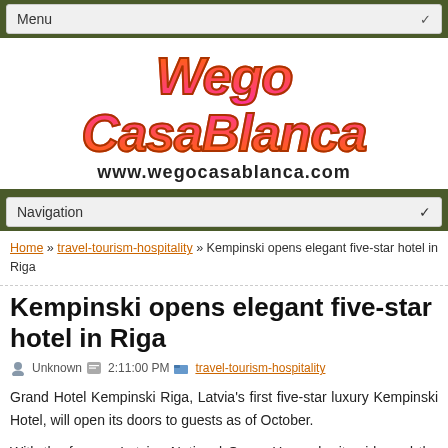Menu
[Figure (logo): Wego CasaBlanca logo with stylized italic text and URL www.wegocasablanca.com]
Navigation
Home » travel-tourism-hospitality » Kempinski opens elegant five-star hotel in Riga
Kempinski opens elegant five-star hotel in Riga
Unknown  2:11:00 PM  travel-tourism-hospitality
Grand Hotel Kempinski Riga, Latvia's first five-star luxury Kempinski Hotel, will open its doors to guests as of October.
With the famous Latvian National Opera House by its side and the Old